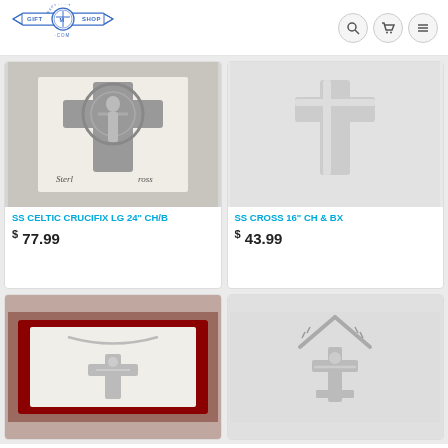Marytown Gift Shop .com — navigation icons: search, cart, menu
[Figure (photo): SS Celtic Crucifix product photo — ornate silver Celtic crucifix with Jesus figure, on white background with 'Sterling Cross' text]
SS CELTIC CRUCIFIX LG 24" CH/B
$ 77.99
[Figure (photo): SS Cross 16" product photo — plain silver cross on white background]
SS CROSS 16" CH & BX
$ 43.99
[Figure (photo): Product photo — silver crucifix necklace in red velvet box]
[Figure (photo): Product photo — silver crucifix on chain, white background]